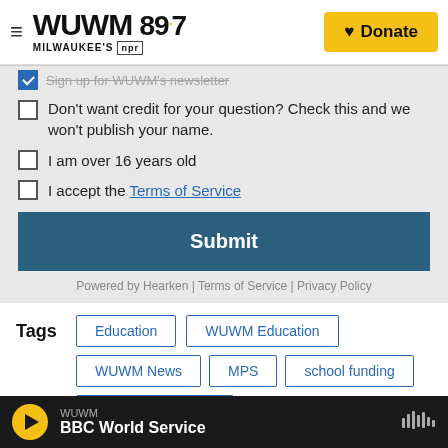[Figure (screenshot): WUWM 89.7 Milwaukee's NPR website header with logo and Donate button]
Sign up for WUWM's newsletter
Don't want credit for your question? Check this and we won't publish your name.
I am over 16 years old
I accept the Terms of Service
Submit
Powered by Hearken | Terms of Service | Privacy Policy
Tags
Education
WUWM Education
WUWM News
MPS
school funding
WUWM BBC World Service